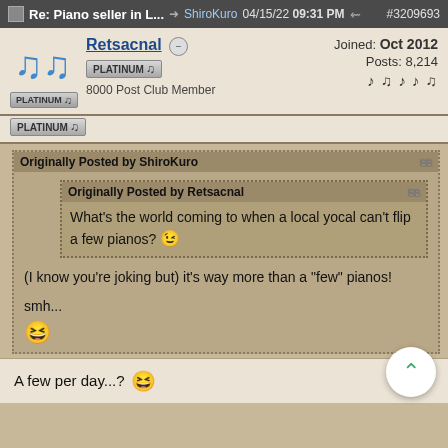Re: Piano seller in L... ShiroKuro 04/15/22 09:31 PM #3209693
Retsacnal
Joined: Oct 2012
Posts: 8,214
PLATINUM
8000 Post Club Member
PLATINUM
Originally Posted by ShiroKuro
Originally Posted by Retsacnal
What's the world coming to when a local yocal can't flip a few pianos? 😉
(I know you're joking but) it's way more than a "few" pianos!
smh...
A few per day...? 😄